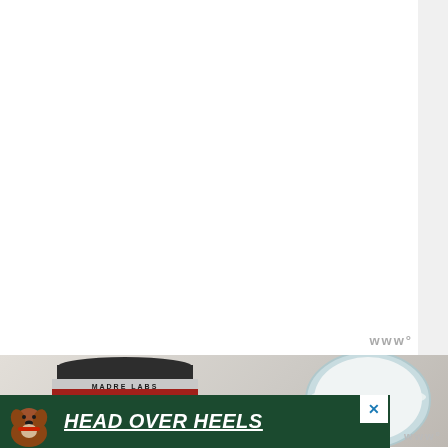[Figure (photo): White/light gray blank webpage area with a thin right sidebar strip and a small green accent bar]
[Figure (photo): Product photo showing a Madre Labs supplement jar with dark lid and red label on a marble surface, with a bowl of white liquid (milk or supplement) partially visible on the right]
[Figure (photo): Advertisement banner with dark green background showing a dog (boxer/pit bull terrier), bold italic white underlined text reading HEAD OVER HEELS, and an X close button in the upper right]
www°
www°